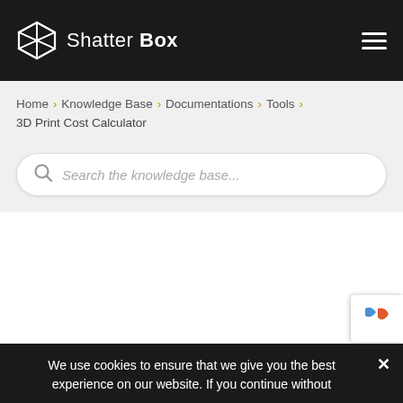Shatter Box
Home > Knowledge Base > Documentations > Tools > 3D Print Cost Calculator
Search the knowledge base...
We use cookies to ensure that we give you the best experience on our website. If you continue without